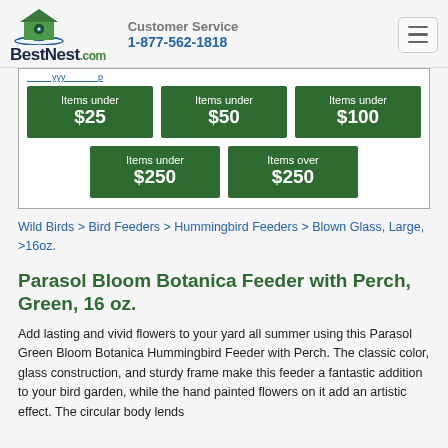Customer Service 1-877-562-1818 BestNest.com
[Figure (infographic): Five green price category buttons: Items under $25, Items under $50, Items under $100, Items under $250, Items over $250]
Wild Birds > Bird Feeders > Hummingbird Feeders > Blown Glass, Large, >16oz.
Parasol Bloom Botanica Feeder with Perch, Green, 16 oz.
Add lasting and vivid flowers to your yard all summer using this Parasol Green Bloom Botanica Hummingbird Feeder with Perch. The classic color, glass construction, and sturdy frame make this feeder a fantastic addition to your bird garden, while the hand painted flowers on it add an artistic effect. The circular body lends